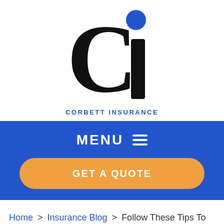[Figure (logo): Corbett Insurance logo: large 'C' with 'i' and blue dot, with text 'CORBETT INSURANCE' below in blue spaced capitals]
MENU ≡
GET A QUOTE
Home > Insurance Blog > Follow These Tips To Make Your Workplace Happier